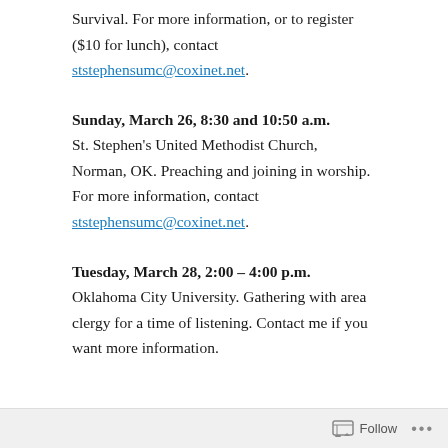Survival. For more information, or to register ($10 for lunch), contact ststephensumc@coxinet.net.
Sunday, March 26, 8:30 and 10:50 a.m. St. Stephen's United Methodist Church, Norman, OK. Preaching and joining in worship. For more information, contact ststephensumc@coxinet.net.
Tuesday, March 28, 2:00 – 4:00 p.m. Oklahoma City University. Gathering with area clergy for a time of listening. Contact me if you want more information.
Follow